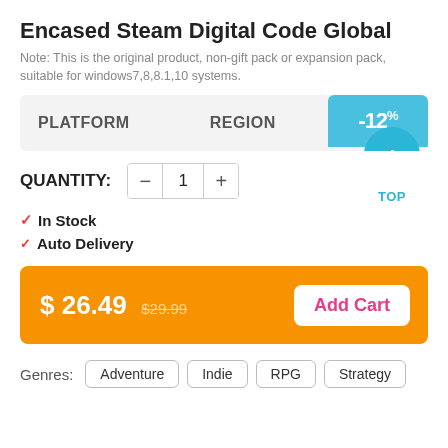Encased Steam Digital Code Global
Note: This is the original product, non-gift pack or expansion pack, suitable for windows7,8,8.1,10 systems.
PLATFORM   REGION   -12%   TOP
QUANTITY: 1
✓In Stock
✓ Auto Delivery
$ 26.49  $29.99  Add Cart
Genres: Adventure  Indie  RPG  Strategy